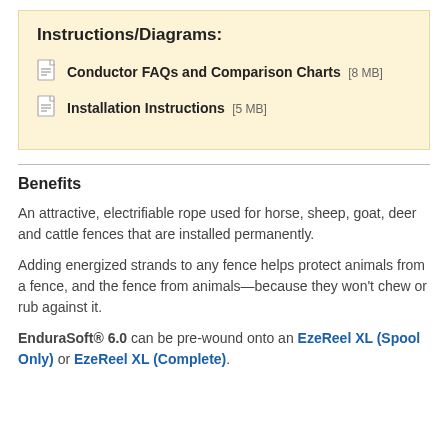Instructions/Diagrams:
Conductor FAQs and Comparison Charts [8 MB]
Installation Instructions [5 MB]
Benefits
An attractive, electrifiable rope used for horse, sheep, goat, deer and cattle fences that are installed permanently.
Adding energized strands to any fence helps protect animals from a fence, and the fence from animals—because they won't chew or rub against it.
EnduraSoft® 6.0 can be pre-wound onto an EzeReel XL (Spool Only) or EzeReel XL (Complete).